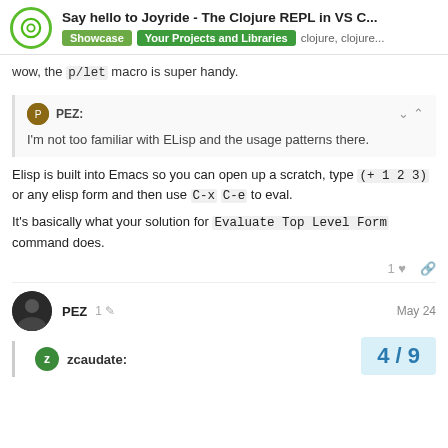Say hello to Joyride - The Clojure REPL in VS C... | Showcase | Your Projects and Libraries | clojure, clojure...
wow, the p/let macro is super handy.
PEZ: I'm not too familiar with ELisp and the usage patterns there.
Elisp is built into Emacs so you can open up a scratch, type (+ 1 2 3) or any elisp form and then use C-x C-e to eval.
It's basically what your solution for Evaluate Top Level Form command does.
PEZ  1  May 24
zcaudate:
4 / 9